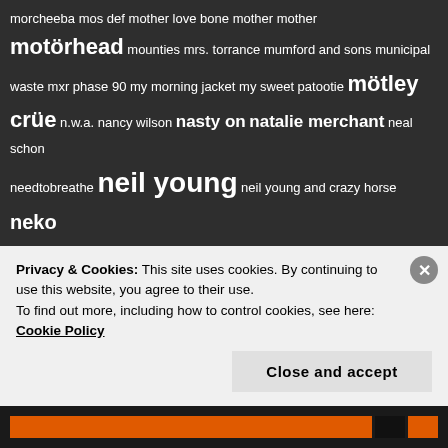morcheeba mos def mother love bone mother mother motörhead mounties mrs. torrance mumford and sons municipal waste mxr phase 90 my morning jacket my sweet patootie mötley crüe n.w.a. nancy wilson nasty on natalie merchant neal schon needtobreathe neil young neil young and crazy horse neko case nelly furtado neutral milk hotel new pornographers nicholas payton nick cave nickelback nick menza nina simone nine inch nails nirvana no doubt nofx nomadic massive norah jones northcote notorious b.i.g. novillero oasis olivia rodrigo opeth oscar peterson otis redding our lady peace ozzy osbourne...
Privacy & Cookies: This site uses cookies. By continuing to use this website, you agree to their use.
To find out more, including how to control cookies, see here: Cookie Policy
Close and accept